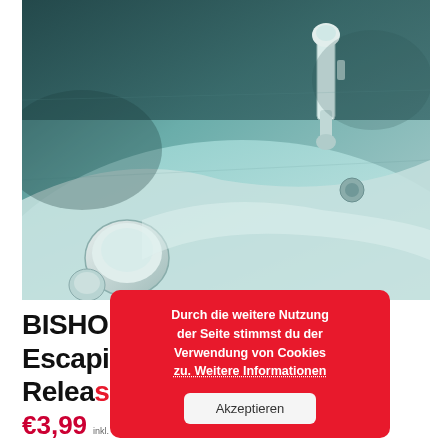[Figure (photo): Close-up photo of an electric guitar body showing tuning knobs and bridge hardware, tinted in teal/green monochrome]
BISHOP'S TRACE Pocket Escapisms" (Extended Release) (MP3)
Durch die weitere Nutzung der Seite stimmst du der Verwendung von Cookies zu. Weitere Informationen Akzeptieren
€3,99 inkl. MwSt. / tax included